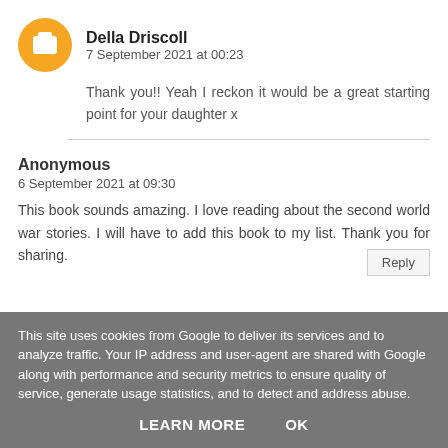Della Driscoll
7 September 2021 at 00:23
Thank you!! Yeah I reckon it would be a great starting point for your daughter x
Anonymous
6 September 2021 at 09:30
This book sounds amazing. I love reading about the second world war stories. I will have to add this book to my list. Thank you for sharing.
This site uses cookies from Google to deliver its services and to analyze traffic. Your IP address and user-agent are shared with Google along with performance and security metrics to ensure quality of service, generate usage statistics, and to detect and address abuse.
LEARN MORE    OK